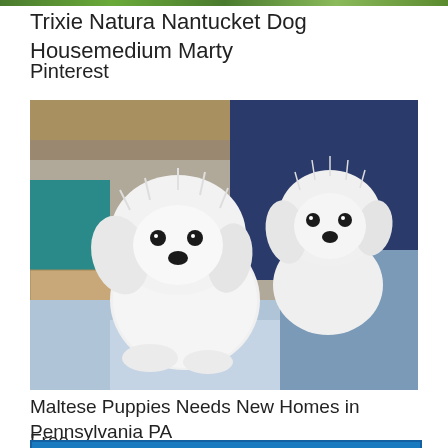Trixie Natura Nantucket Dog Housemedium Marty
Pinterest
[Figure (photo): Two fluffy white Maltese puppies sitting together on blue fabric with a person in teal clothing visible in the background]
Maltese Puppies Needs New Homes in Pennsylvania PA
Free